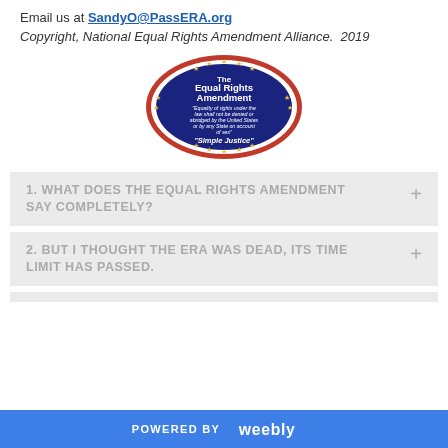Email us at SandyO@PassERA.org
Copyright, National Equal Rights Amendment Alliance.  2019
[Figure (logo): The Equal Rights Amendment oval badge with blue background and red border. Text reads: 'The Equal Rights Amendment' and 'Equality of rights under the law shall not be denied or abridged by the United States or by any State on account of sex' and 'Simple Justice' with decorative stars around the border.]
1. WHAT DOES THE EQUAL RIGHTS AMENDMENT SAY COMPLETELY?
2. BUT I THOUGHT THE ERA WAS DEAD, ITS TIME LIMIT HAS PASSED.
POWERED BY weebly